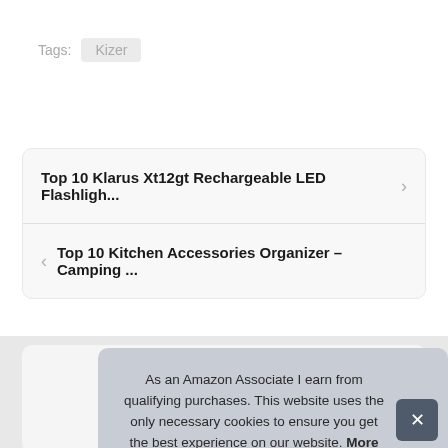Tags:  Kizer
Top 10 Klarus Xt12gt Rechargeable LED Flashligh...
Top 10 Kitchen Accessories Organizer – Camping ...
As an Amazon Associate I earn from qualifying purchases. This website uses the only necessary cookies to ensure you get the best experience on our website. More information